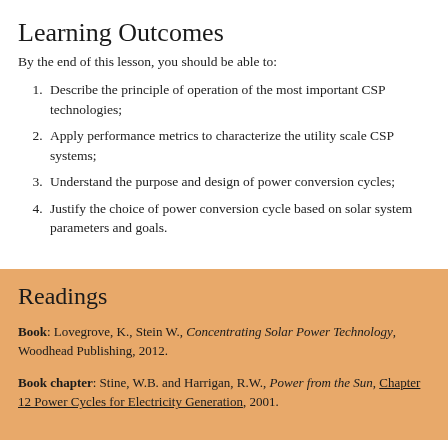Learning Outcomes
By the end of this lesson, you should be able to:
Describe the principle of operation of the most important CSP technologies;
Apply performance metrics to characterize the utility scale CSP systems;
Understand the purpose and design of power conversion cycles;
Justify the choice of power conversion cycle based on solar system parameters and goals.
Readings
Book: Lovegrove, K., Stein W., Concentrating Solar Power Technology, Woodhead Publishing, 2012.
Book chapter: Stine, W.B. and Harrigan, R.W., Power from the Sun, Chapter 12 Power Cycles for Electricity Generation, 2001.